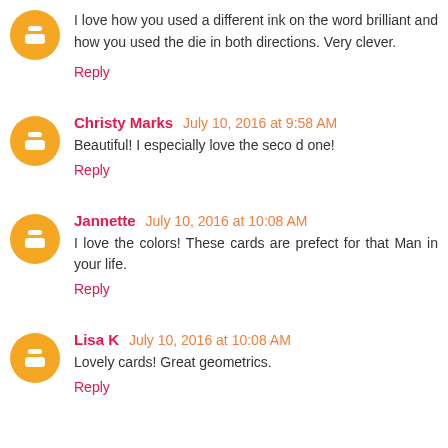I love how you used a different ink on the word brilliant and how you used the die in both directions. Very clever.
Reply
Christy Marks  July 10, 2016 at 9:58 AM
Beautiful! I especially love the seco d one!
Reply
Jannette  July 10, 2016 at 10:08 AM
I love the colors! These cards are prefect for that Man in your life.
Reply
Lisa K  July 10, 2016 at 10:08 AM
Lovely cards! Great geometrics.
Reply